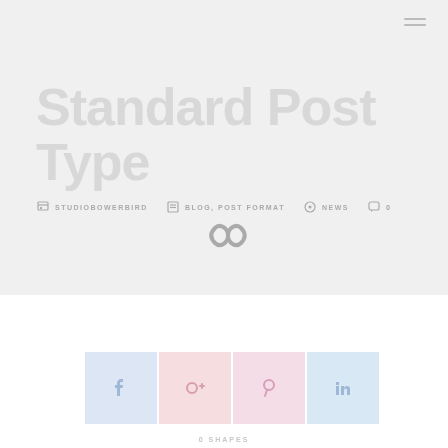Standard Post Type
STUDIOBOWERBIRD  BLOG, POST FORMAT  NEWS  0
[Figure (other): Infinity symbol / logo mark in gray]
[Figure (other): Social share buttons: Facebook (blue), Google+ (red), Pinterest (pink), LinkedIn (blue)]
0 SHAPES